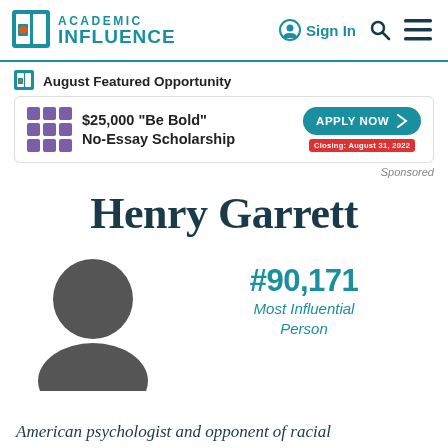Academic Influence — Sign In
August Featured Opportunity
[Figure (screenshot): Advertisement banner for $25,000 'Be Bold' No-Essay Scholarship with purple grid logo and Apply Now button]
Sponsored
Henry Garrett
[Figure (illustration): Default grey avatar profile silhouette icon]
#90,171 Most Influential Person
American psychologist and opponent of racial